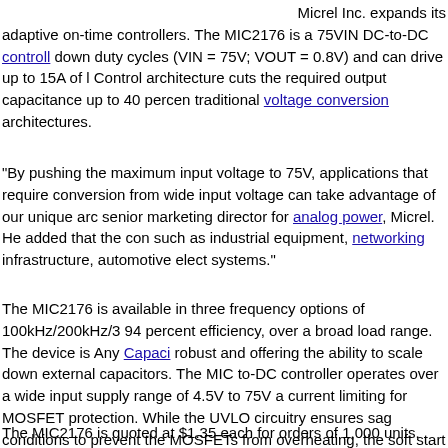Micrel Inc. expands its adaptive on-time controllers. The MIC2176 is a 75VIN DC-to-DC controller down duty cycles (VIN = 75V; VOUT = 0.8V) and can drive up to 15A of load. Control architecture cuts the required output capacitance up to 40 percent traditional voltage conversion architectures.
"By pushing the maximum input voltage to 75V, applications that require conversion from wide input voltage can take advantage of our unique architecture," senior marketing director for analog power, Micrel. He added that the controller such as industrial equipment, networking infrastructure, automotive electronics systems."
The MIC2176 is available in three frequency options of 100kHz/200kHz/300kHz achieving 94 percent efficiency, over a broad load range. The device is Any Capacitor-compatible robust and offering the ability to scale down external capacitors. The MIC2176 DC-to-DC controller operates over a wide input supply range of 4.5V to 75V and includes current limiting for MOSFET protection. While the UVLO circuitry ensures sag conditions to prevent the MOSFETs from overheating, the soft start feature. The MIC2176 Hyper Speed Control controller is available in a 10-pin MSOP with junction temperature range from -40C to + 125C .
The MIC2176 is quoted at $1.35 each for orders of 1,000 units.